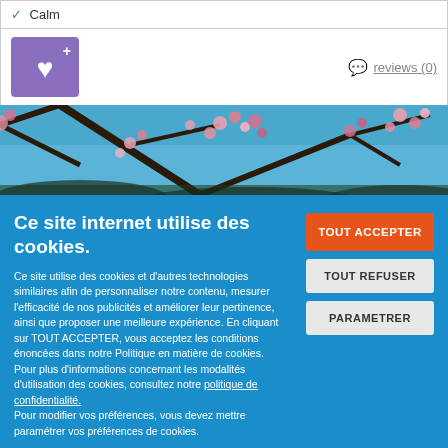✓ Calm
[Figure (illustration): Purple heart button with plus icon and reviews link showing reviews (0)]
[Figure (photo): Photograph of cherry blossom tree branches with pink flowers against a blue sky]
Ce site internet utilise des cookies.
Ce site utilise des cookies et d'autres technologies similaires afin de personnaliser notre contenu, mesurer l'efficacité de nos publicités et améliorer leur pertinence, ainsi que proposer une meilleure expérience. En cliquant sur TOUT ACCEPTER, vous acceptez les conditions énoncées dans notre Politique en matière de cookies.
Pour plus d'informations concernant les modalités d'utilisation des cookies, consultez notre politique de confidentialité.
Pour modifier vos préférences, vous devez mettre paramétrer vos préférences de cookies.